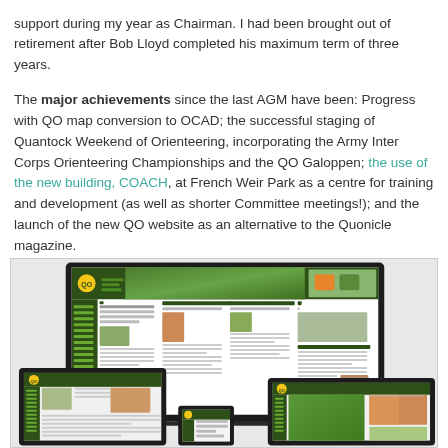support during my year as Chairman. I had been brought out of retirement after Bob Lloyd completed his maximum term of three years.

The major achievements since the last AGM have been: Progress with QO map conversion to OCAD; the successful staging of Quantock Weekend of Orienteering, incorporating the Army Inter Corps Orienteering Championships and the QO Galoppen; the use of the new building, COACH, at French Weir Park as a centre for training and development (as well as shorter Committee meetings!); and the launch of the new QO website as an alternative to the Quonicle magazine.
[Figure (screenshot): Screenshot of the QO (Quantock Orienteers) website displayed on multiple devices: a laptop/monitor showing the main website with green navigation, forest imagery, and content columns; a tablet on the left showing a similar view; and another tablet/device on the right showing the website with forest and orienteering images.]